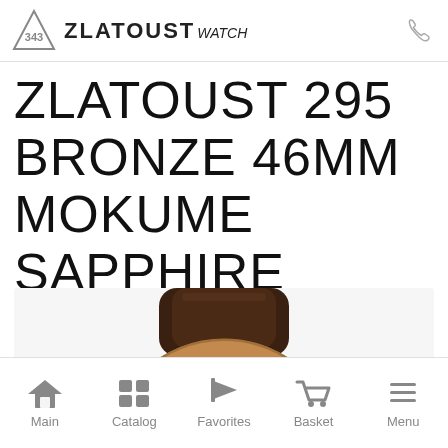ZLATOUST watch
ZLATOUST 295 BRONZE 46MM MOKUME SAPPHIRE
[Figure (photo): Close-up top view of a bronze watch case with brown leather strap and mokume-gane dial visible]
Main  Catalog  Favorites  Basket  Menu